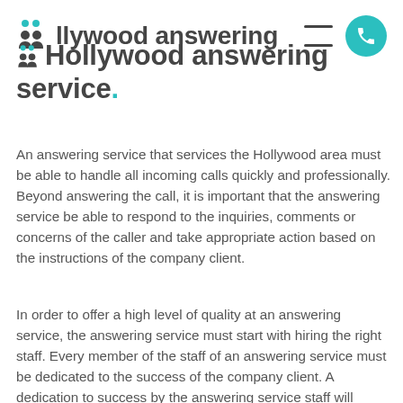Hollywood answering service.
An answering service that services the Hollywood area must be able to handle all incoming calls quickly and professionally. Beyond answering the call, it is important that the answering service be able to respond to the inquiries, comments or concerns of the caller and take appropriate action based on the instructions of the company client.
In order to offer a high level of quality at an answering service, the answering service must start with hiring the right staff. Every member of the staff of an answering service must be dedicated to the success of the company client. A dedication to success by the answering service staff will translate